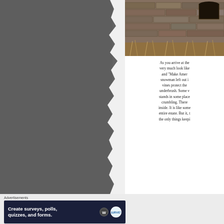[Figure (photo): Left side torn gray paper / dark photo area with ragged right edge]
[Figure (photo): Stone ruins or old brick building exterior with window opening, dry grass in foreground]
As you arrive at the very much look like and "Make Amer snowman left out i vines protect the underbrush. Some w stands in some place crumbling. There inside. It is like some entire estate. But it, t the only things keepi
Advertisements
[Figure (screenshot): Advertisement banner: Create surveys, polls, quizzes, and forms. WordPress logo and Survey icon visible.]